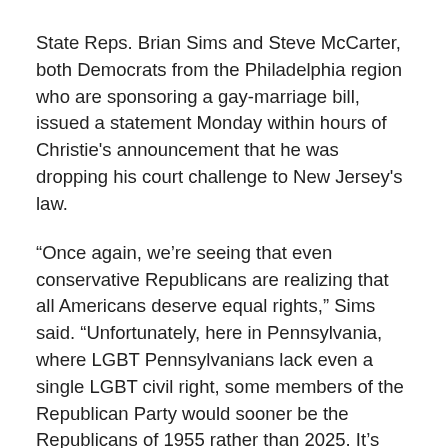State Reps. Brian Sims and Steve McCarter, both Democrats from the Philadelphia region who are sponsoring a gay-marriage bill, issued a statement Monday within hours of Christie's announcement that he was dropping his court challenge to New Jersey's law.
“Once again, we’re seeing that even conservative Republicans are realizing that all Americans deserve equal rights,” Sims said. “Unfortunately, here in Pennsylvania, where LGBT Pennsylvanians lack even a single LGBT civil right, some members of the Republican Party would sooner be the Republicans of 1955 rather than 2025. It’s unconscionable that Pennsylvanians who get married out of state can still be fired for putting a wedding photo on their desks.”
“It’s a black eye on the state of Pennsylvania that nearly all of our neighboring states have already added protections…